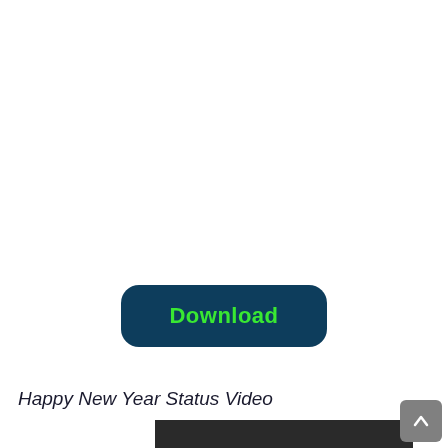[Figure (other): Dark navy blue rounded rectangle Download button with bright green bold text reading 'Download']
Happy New Year Status Video
[Figure (screenshot): Dark/black video thumbnail strip at the bottom of the page]
[Figure (other): Grey scroll-to-top button with upward arrow in bottom right corner]